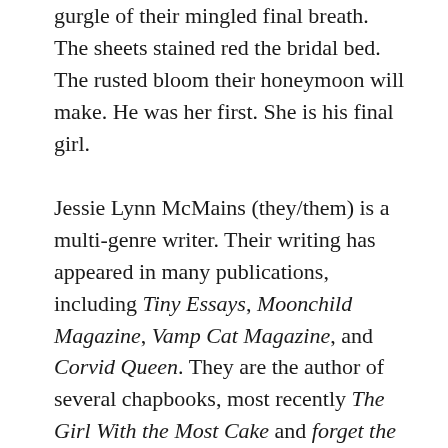gurgle of their mingled final breath. The sheets stained red the bridal bed. The rusted bloom their honeymoon will make. He was her first. She is his final girl.
Jessie Lynn McMains (they/them) is a multi-genre writer. Their writing has appeared in many publications, including Tiny Essays, Moonchild Magazine, Vamp Cat Magazine, and Corvid Queen. They are the author of several chapbooks, most recently The Girl With the Most Cake and forget the fuck away from me. They were the recipient of the 2019 Hal Prize for poetry, and were the 2015-2017 Poet Laureate of Racine, WI. You can find their website at www.recklesschants.net, or find them on Twitter, Tumblr, and Instagram. On the latter...